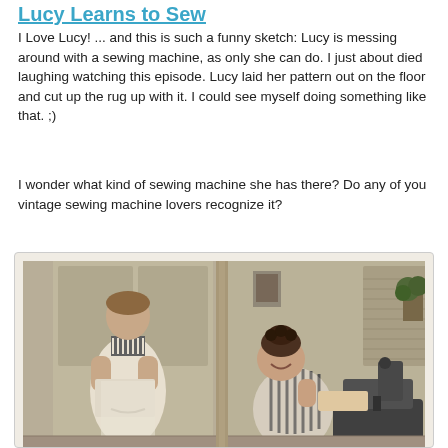Lucy Learns to Sew
I Love Lucy!  ... and this is such a funny sketch:  Lucy is messing around with a sewing machine, as only she can do.  I just about died laughing watching this episode.  Lucy laid her pattern out on the floor and cut up the rug up with it.  I could see myself doing something like that. ;)
I wonder what kind of sewing machine she has there?   Do any of you vintage sewing machine lovers recognize it?
[Figure (photo): Black and white photograph from I Love Lucy TV show, showing two women — one standing reading a pattern in a dress, and one seated at a sewing machine in a striped outfit with her hair up.]